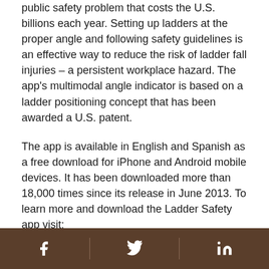public safety problem that costs the U.S. billions each year. Setting up ladders at the proper angle and following safety guidelines is an effective way to reduce the risk of ladder fall injuries – a persistent workplace hazard. The app's multimodal angle indicator is based on a ladder positioning concept that has been awarded a U.S. patent.
The app is available in English and Spanish as a free download for iPhone and Android mobile devices. It has been downloaded more than 18,000 times since its release in June 2013. To learn more and download the Ladder Safety app visit: https://www.cdc.gov/niosh/topics/falls/mobileapp.html.
NIOSH is the federal agency that conducts research and makes recommendations for preventing work-
[Facebook] [Twitter] [LinkedIn]